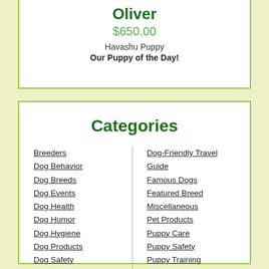Oliver
$650.00
Havashu Puppy
Our Puppy of the Day!
Categories
Breeders
Dog Behavior
Dog Breeds
Dog Events
Dog Health
Dog Humor
Dog Hygiene
Dog Products
Dog Safety
Dog-Friendly Travel Guide
Famous Dogs
Featured Breed
Miscellaneous
Pet Products
Puppy Care
Puppy Safety
Puppy Training
Uncategorized